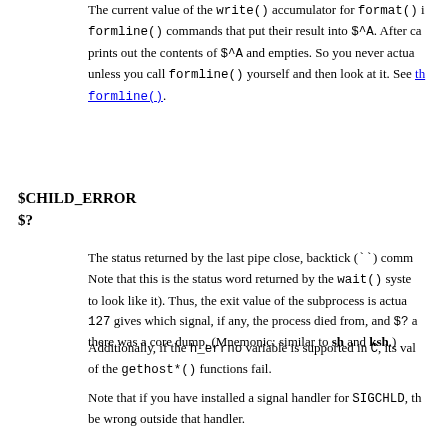The current value of the write() accumulator for format() is formline() commands that put their result into $^A. After calls prints out the contents of $^A and empties. So you never actually unless you call formline() yourself and then look at it. See the formline().
$CHILD_ERROR
$?
The status returned by the last pipe close, backtick (``) comm. Note that this is the status word returned by the wait() system to look like it). Thus, the exit value of the subprocess is actual 127 gives which signal, if any, the process died from, and $? and there was a core dump. (Mnemonic: similar to sh and ksh.)
Additionally, if the h_errno variable is supported in C, its value of the gethost*() functions fail.
Note that if you have installed a signal handler for SIGCHLD, the be wrong outside that handler.
Inside an END subroutine $? contains the value that is going to modify $? in an END subroutine to change the exit status of the
Under VMS, the pragma use vmsish 'status' makes $? reflect status, instead of the default emulation of POSIX status.